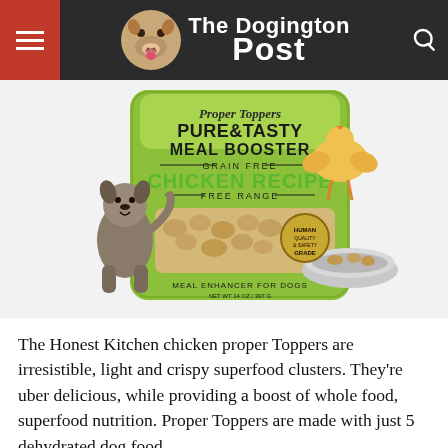The Dogington Post
[Figure (photo): Product photo of The Honest Kitchen Proper Toppers Pure & Tasty Meal Booster Grain Free Chicken Recipe Free Range dog food bag, green packaging with a dog and chicken illustration, next to a bowl of the product.]
The Honest Kitchen chicken proper Toppers are irresistible, light and crispy superfood clusters. They’re uber delicious, while providing a boost of whole food, superfood nutrition. Proper Toppers are made with just 5 dehydrated dog food